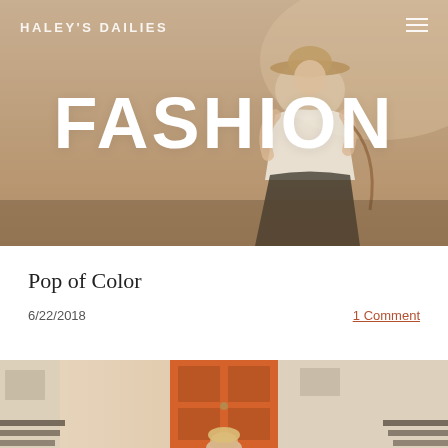HALEY'S DAILIES
[Figure (photo): Hero image of a woman in a hat, white t-shirt, and floral skirt standing against a wall, with large FASHION text overlay]
Pop of Color
6/22/2018
1 Comment
[Figure (photo): Partial photo showing a woman standing near an orange door on exterior steps]